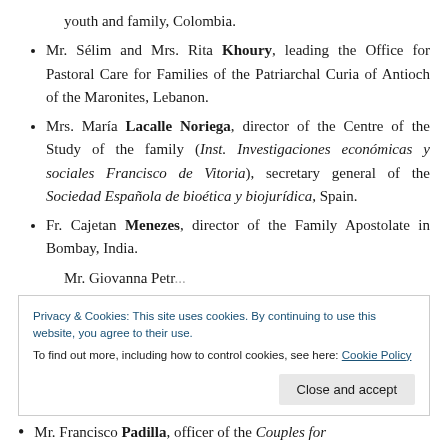youth and family, Colombia.
Mr. Sélim and Mrs. Rita Khoury, leading the Office for Pastoral Care for Families of the Patriarchal Curia of Antioch of the Maronites, Lebanon.
Mrs. María Lacalle Noriega, director of the Centre of the Study of the family (Inst. Investigaciones económicas y sociales Francisco de Vitoria), secretary general of the Sociedad Española de bioética y biojurídica, Spain.
Fr. Cajetan Menezes, director of the Family Apostolate in Bombay, India.
Privacy & Cookies: This site uses cookies. By continuing to use this website, you agree to their use.
To find out more, including how to control cookies, see here: Cookie Policy
Mr. Francisco Padilla, officer of the Couples for